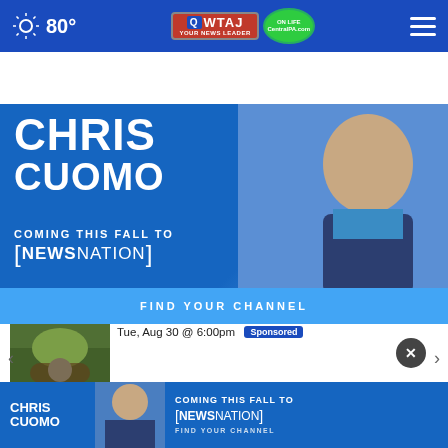80° WTAJ CentralPA.com
[Figure (photo): Advertisement banner for Chris Cuomo Coming This Fall to NewsNation - Find Your Channel]
Upcoming Events
Tue, Aug 30 @ 6:00pm  Sponsored
[Figure (photo): Thumbnail image showing outdoor scene with grass and ground]
[Figure (screenshot): Bottom advertisement banner for Chris Cuomo Coming This Fall to NewsNation - Find Your Channel]